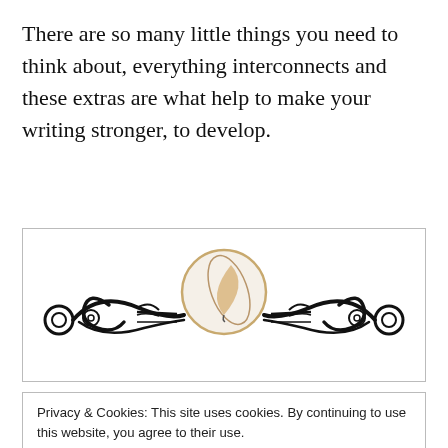There are so many little things you need to think about, everything interconnects and these extras are what help to make your writing stronger, to develop.
[Figure (illustration): Decorative divider with ornate scrollwork and a quill pen logo in a circle at the center]
Privacy & Cookies: This site uses cookies. By continuing to use this website, you agree to their use.
To find out more, including how to control cookies, see here: Cookie Policy
An army needs soldiers with skills, those with